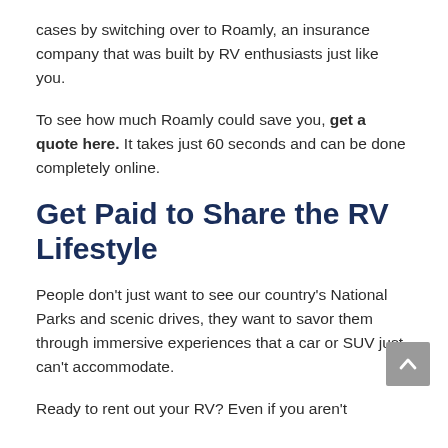cases by switching over to Roamly, an insurance company that was built by RV enthusiasts just like you.
To see how much Roamly could save you, get a quote here. It takes just 60 seconds and can be done completely online.
Get Paid to Share the RV Lifestyle
People don’t just want to see our country’s National Parks and scenic drives, they want to savor them through immersive experiences that a car or SUV just can’t accommodate.
Ready to rent out your RV? Even if you aren’t